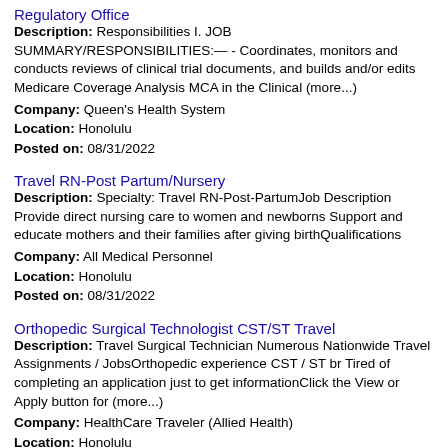Regulatory Office
Description: Responsibilities I. JOB SUMMARY/RESPONSIBILITIES:— - Coordinates, monitors and conducts reviews of clinical trial documents, and builds and/or edits Medicare Coverage Analysis MCA in the Clinical (more...)
Company: Queen's Health System
Location: Honolulu
Posted on: 08/31/2022
Travel RN-Post Partum/Nursery
Description: Specialty: Travel RN-Post-PartumJob Description Provide direct nursing care to women and newborns Support and educate mothers and their families after giving birthQualifications
Company: All Medical Personnel
Location: Honolulu
Posted on: 08/31/2022
Orthopedic Surgical Technologist CST/ST Travel
Description: Travel Surgical Technician Numerous Nationwide Travel Assignments / JobsOrthopedic experience CST / ST br Tired of completing an application just to get informationClick the View or Apply button for (more...)
Company: HealthCare Traveler (Allied Health)
Location: Honolulu